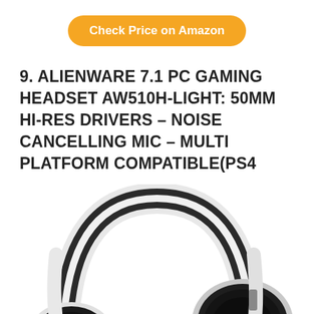[Figure (other): Orange rounded rectangle button with white bold text: Check Price on Amazon]
9. ALIENWARE 7.1 PC GAMING HEADSET AW510H-LIGHT: 50MM HI-RES DRIVERS – NOISE CANCELLING MIC – MULTI PLATFORM COMPATIBLE(PS4
[Figure (photo): Photo of the Alienware AW510H gaming headset in white and black colorway, showing the headband arc and right ear cup, viewed from a front-left angle on a white background.]